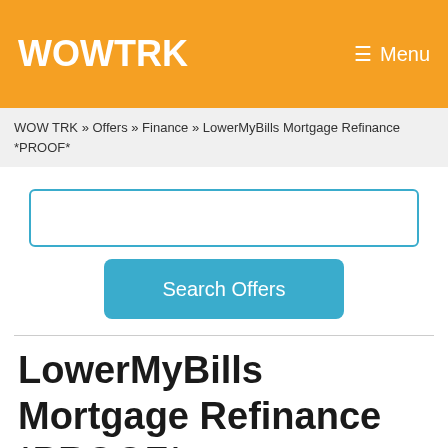WOWTRK    Menu
WOW TRK » Offers » Finance » LowerMyBills Mortgage Refinance *PROOF*
[Figure (other): Search input field (empty text box with teal border)]
Search Offers
LowerMyBills Mortgage Refinance *PROOF*